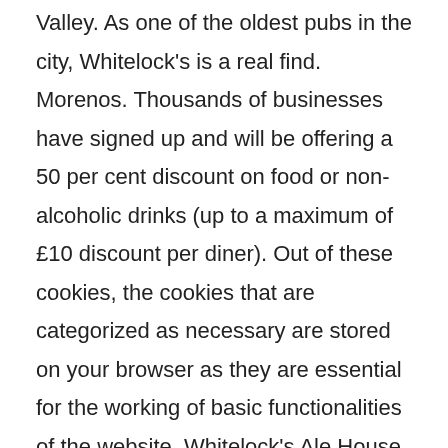Valley. As one of the oldest pubs in the city, Whitelock's is a real find. Morenos. Thousands of businesses have signed up and will be offering a 50 per cent discount on food or non-alcoholic drinks (up to a maximum of £10 discount per diner). Out of these cookies, the cookies that are categorized as necessary are stored on your browser as they are essential for the working of basic functionalities of the website. Whitelock's Ale House. BRINGING THE TASTE OF BRAZIL TO YOU…
Estabulo Rodizio Bar & Grill honour the Brazilian Gaúcho's traditional method of cooking. The Ivy. It's available every Monday, Tuesday and Wednesday. Left